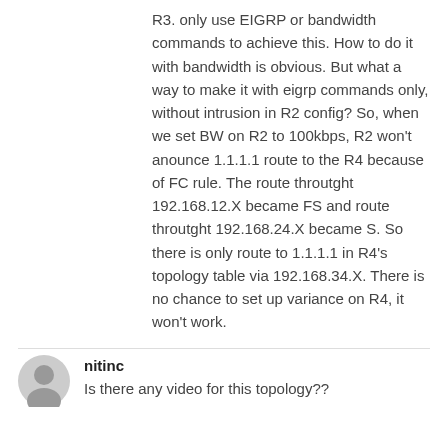R3. only use EIGRP or bandwidth commands to achieve this. How to do it with bandwidth is obvious. But what a way to make it with eigrp commands only, without intrusion in R2 config? So, when we set BW on R2 to 100kbps, R2 won't anounce 1.1.1.1 route to the R4 because of FC rule. The route throutght 192.168.12.X became FS and route throutght 192.168.24.X became S. So there is only route to 1.1.1.1 in R4's topology table via 192.168.34.X. There is no chance to set up variance on R4, it won't work.
nitinc
Is there any video for this topology??